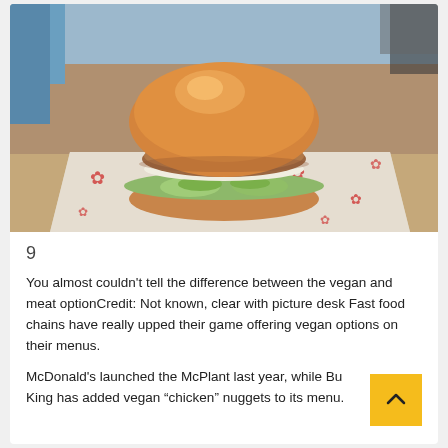[Figure (photo): Close-up photo of a vegan burger (plant-based patty with lettuce and pickles on a brioche bun) sitting on red and white branded wrapper paper on a restaurant tray.]
9
You almost couldn't tell the difference between the vegan and meat optionCredit: Not known, clear with picture desk Fast food chains have really upped their game offering vegan options on their menus.
McDonald's launched the McPlant last year, while Burger King has added vegan “chicken” nuggets to its menu.